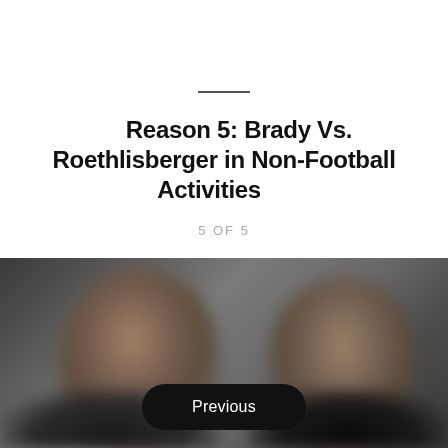Reason 5: Brady Vs. Roethlisberger in Non-Football Activities
5 OF 5
[Figure (photo): Blurred photo of two men side by side, appears to be Brady and Roethlisberger]
Previous